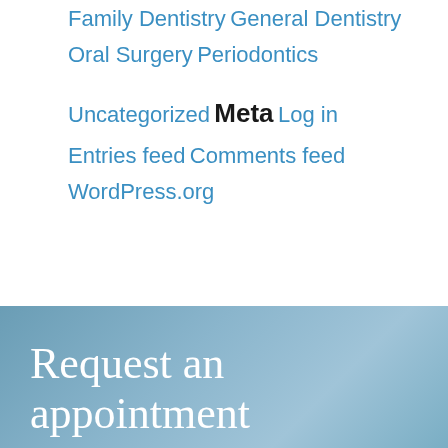Family Dentistry
General Dentistry
Oral Surgery
Periodontics
Uncategorized
Meta
Log in
Entries feed
Comments feed
WordPress.org
Request an appointment